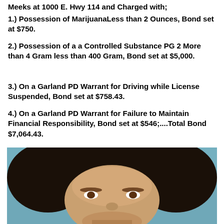Meeks at 1000 E. Hwy 114 and Charged with;
1.) Possession of MarijuanaLess than 2 Ounces, Bond set at $750.
2.) Possession of a a Controlled Substance PG 2 More than 4 Gram less than 400 Gram, Bond set at $5,000.
3.) On a Garland PD Warrant for Driving while License Suspended, Bond set at $758.43.
4.) On a Garland PD Warrant for Failure to Maintain Financial Responsibility, Bond set at $546;....Total Bond $7,064.43.
[Figure (photo): Mugshot photo of a male with dark hair against a teal/blue background]